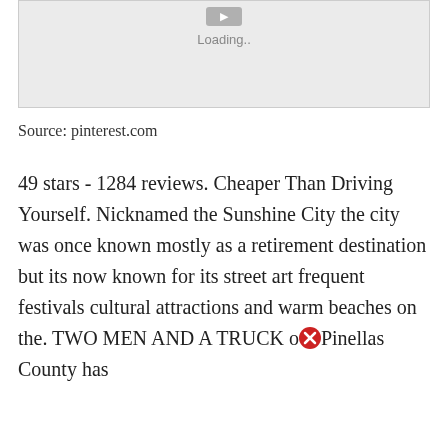[Figure (screenshot): Loading image placeholder with a grey background, a small grey button at top center, and 'Loading..' text below it.]
Source: pinterest.com
49 stars - 1284 reviews. Cheaper Than Driving Yourself. Nicknamed the Sunshine City the city was once known mostly as a retirement destination but its now known for its street art frequent festivals cultural attractions and warm beaches on the. TWO MEN AND A TRUCK of Pinellas County has